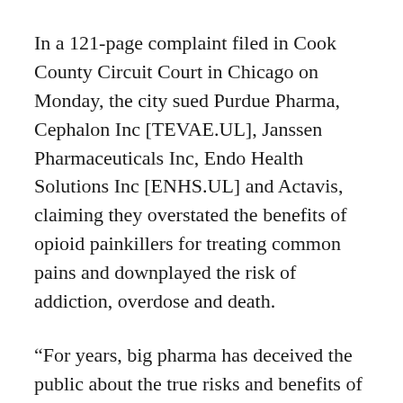In a 121-page complaint filed in Cook County Circuit Court in Chicago on Monday, the city sued Purdue Pharma, Cephalon Inc [TEVAE.UL], Janssen Pharmaceuticals Inc, Endo Health Solutions Inc [ENHS.UL] and Actavis, claiming they overstated the benefits of opioid painkillers for treating common pains and downplayed the risk of addiction, overdose and death.
“For years, big pharma has deceived the public about the true risks and benefits of highly potent and highly addictive painkillers in order to expand their customer base and increase their bottom line,” said Chicago mayor Rahm Emanuel in a statement announcing the lawsuit on Tuesday.